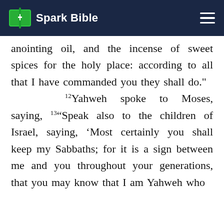Spark Bible
anointing oil, and the incense of sweet spices for the holy place: according to all that I have commanded you they shall do." 12Yahweh spoke to Moses, saying, 13"Speak also to the children of Israel, saying, 'Most certainly you shall keep my Sabbaths; for it is a sign between me and you throughout your generations, that you may know that I am Yahweh who